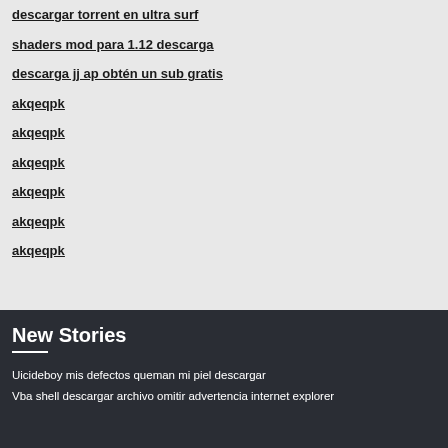descargar torrent en ultra surf
shaders mod para 1.12 descarga
descarga jj ap obtén un sub gratis
akqeqpk
akqeqpk
akqeqpk
akqeqpk
akqeqpk
akqeqpk
New Stories
Uicideboy mis defectos queman mi piel descargar
Vba shell descargar archivo omitir advertencia internet explorer